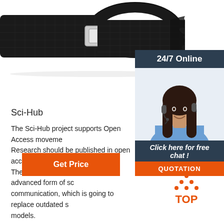[Figure (photo): Close-up photo of a black woven watch strap with silver buckle clasp]
[Figure (infographic): 24/7 Online chat widget with dark header reading '24/7 Online', photo of female customer service agent with headset, 'Click here for free chat!' text, and orange QUOTATION button]
Sci-Hub
The Sci-Hub project supports Open Access movement in science. Research should be published in open access, i.e. be free to read. The Open Access is a new and advanced form of scientific communication, which is going to replace outdated subscription models.
[Figure (other): Orange 'Get Price' button]
[Figure (other): Orange dotted triangle with 'TOP' text — scroll to top icon]